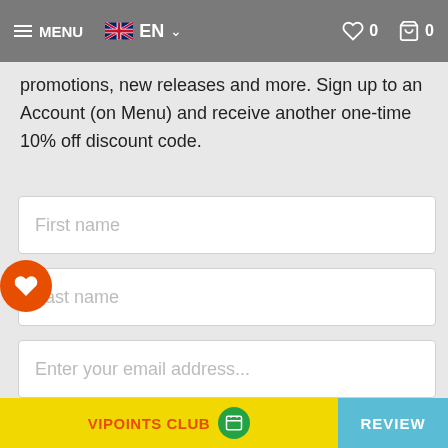[Figure (screenshot): Navigation bar with hamburger menu, MENU text, UK flag EN language selector, chevron, heart/wishlist icon with count 0, cart icon with count 0]
promotions, new releases and more. Sign up to an Account (on Menu) and receive another one-time 10% off discount code.
[Figure (screenshot): First name input field (empty, placeholder text)]
[Figure (screenshot): Last name input field (empty, placeholder text)]
[Figure (screenshot): Enter your email address... input field (empty, placeholder text)]
[Figure (screenshot): SIGN UP orange button]
This site is protected by reCAPTCHA and
[Figure (screenshot): Bottom navigation bar with VIPOINTS CLUB (yellow, green icon) on left and REVIEW (blue) on right]